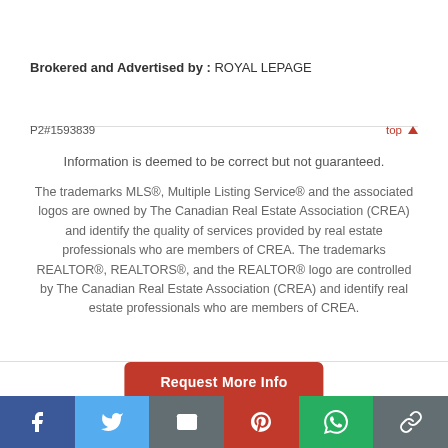Brokered and Advertised by : ROYAL LEPAGE
P2#1593839
top ▲
Information is deemed to be correct but not guaranteed.
The trademarks MLS®, Multiple Listing Service® and the associated logos are owned by The Canadian Real Estate Association (CREA) and identify the quality of services provided by real estate professionals who are members of CREA. The trademarks REALTOR®, REALTORS®, and the REALTOR® logo are controlled by The Canadian Real Estate Association (CREA) and identify real estate professionals who are members of CREA.
Request More Info